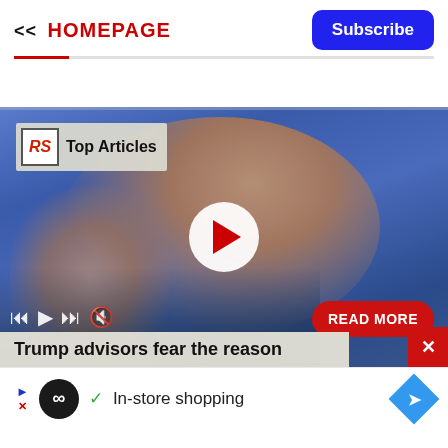<< HOMEPAGE | Subscribe
[Figure (screenshot): Video player showing a person at a podium with a play button overlay, 'RS Top Articles' badge, media controls, READ MORE button, and caption 'Trump advisors fear the reason']
Trump advisors fear the reason
In-store shopping